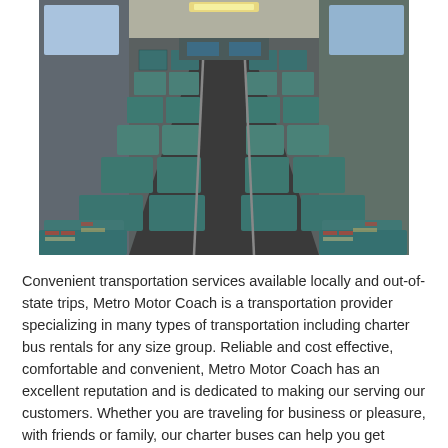[Figure (photo): Interior view of a charter bus looking down the aisle with rows of patterned seats in teal, red, and multicolor geometric fabric on both sides, perspective view toward the front of the bus.]
Convenient transportation services available locally and out-of-state trips, Metro Motor Coach is a transportation provider specializing in many types of transportation including charter bus rentals for any size group. Reliable and cost effective, comfortable and convenient, Metro Motor Coach has an excellent reputation and is dedicated to making our serving our customers. Whether you are traveling for business or pleasure, with friends or family, our charter buses can help you get where you need to go on time and in style.